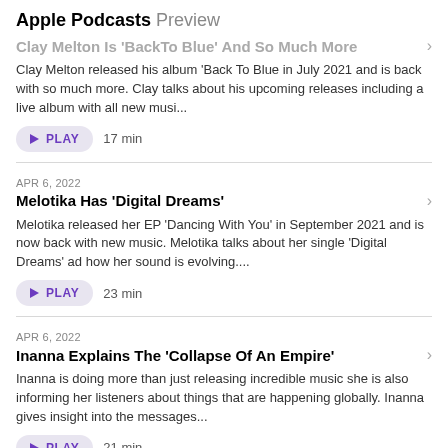Apple Podcasts Preview
Clay Melton Is 'BackTo Blue' And So Much More
Clay Melton released his album 'Back To Blue in July 2021 and is back with so much more. Clay talks about his upcoming releases including a live album with all new musi...
PLAY  17 min
APR 6, 2022
Melotika Has 'Digital Dreams'
Melotika released her EP 'Dancing With You' in September 2021 and is now back with new music. Melotika talks about her single 'Digital Dreams' ad how her sound is evolving....
PLAY  23 min
APR 6, 2022
Inanna Explains The 'Collapse Of An Empire'
Inanna is doing more than just releasing incredible music she is also informing her listeners about things that are happening globally. Inanna gives insight into the messages...
PLAY  21 min